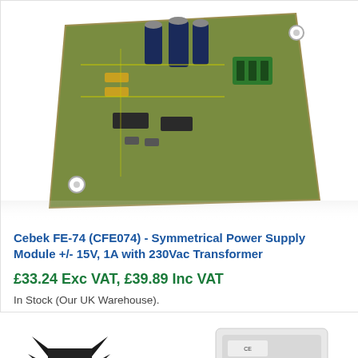[Figure (photo): PCB circuit board photo - Cebek FE-74 symmetrical power supply module showing green PCB with capacitors and components]
Cebek FE-74 (CFE074) - Symmetrical Power Supply Module +/- 15V, 1A with 230Vac Transformer
£33.24 Exc VAT, £39.89 Inc VAT
In Stock (Our UK Warehouse).
[Figure (photo): Power supply module photo showing black heat sink, transformer (CROVISA branded), blue capacitors, on white background]